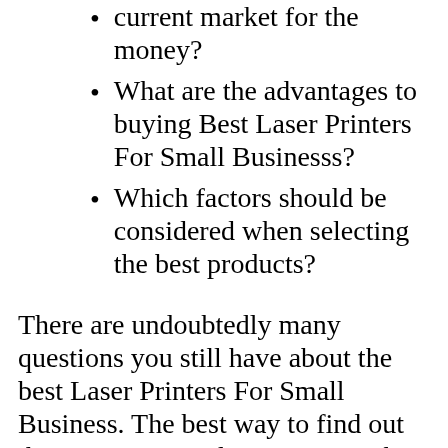current market for the money?
What are the advantages to buying Best Laser Printers For Small Businesss?
Which factors should be considered when selecting the best products?
There are undoubtedly many questions you still have about the best Laser Printers For Small Business. The best way to find out the answers is to do your research and talk with someone who knows what they're talking about. No one knows more about this topic than experts! Sources of information for you could include buying guides, word-of-mouth, rating websites, testimonials from